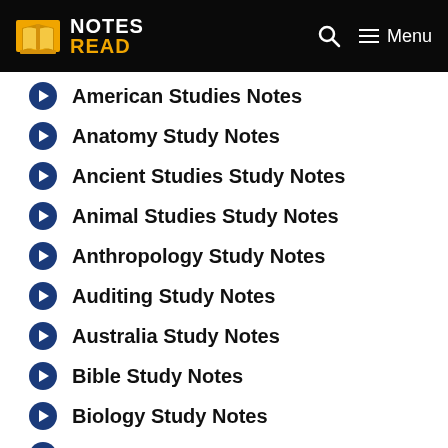NOTES READ
American Studies Notes
Anatomy Study Notes
Ancient Studies Study Notes
Animal Studies Study Notes
Anthropology Study Notes
Auditing Study Notes
Australia Study Notes
Bible Study Notes
Biology Study Notes
Books Notes
Car Guide Notes
Cardiology Study Notes